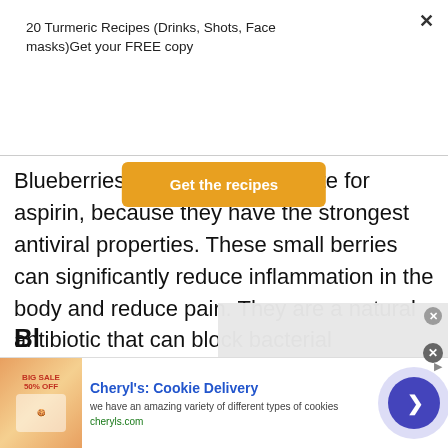20 Turmeric Recipes (Drinks, Shots, Face masks)Get your FREE copy
[Figure (other): Orange 'Get the recipes' call-to-action button]
Blueberries are a great substitute for aspirin, because they have the strongest antiviral properties. These small berries can significantly reduce inflammation in the body and reduce pain. They are a natural antibiotic that can block bacterial pathogens in the urinary system.
[Figure (screenshot): Advertisement banner for Cheryl's Cookie Delivery showing cookie image, title, description 'we have an amazing variety of different types of cookies', URL cheryls.com, and a forward arrow button]